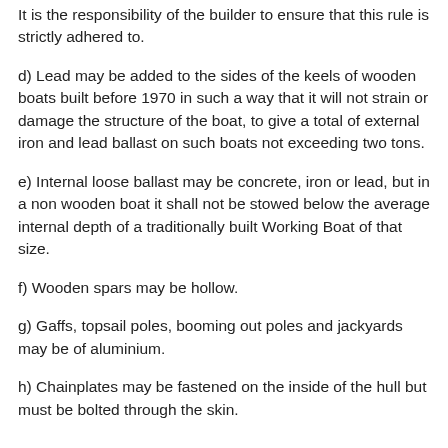It is the responsibility of the builder to ensure that this rule is strictly adhered to.
d) Lead may be added to the sides of the keels of wooden boats built before 1970 in such a way that it will not strain or damage the structure of the boat, to give a total of external iron and lead ballast on such boats not exceeding two tons.
e) Internal loose ballast may be concrete, iron or lead, but in a non wooden boat it shall not be stowed below the average internal depth of a traditionally built Working Boat of that size.
f) Wooden spars may be hollow.
g) Gaffs, topsail poles, booming out poles and jackyards may be of aluminium.
h) Chainplates may be fastened on the inside of the hull but must be bolted through the skin.